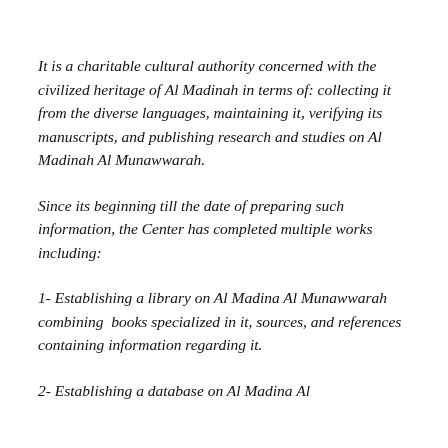It is a charitable cultural authority concerned with the civilized heritage of Al Madinah in terms of: collecting it from the diverse languages, maintaining it, verifying its manuscripts, and publishing research and studies on Al Madinah Al Munawwarah.
Since its beginning till the date of preparing such information, the Center has completed multiple works including:
1- Establishing a library on Al Madina Al Munawwarah combining  books specialized in it, sources, and references containing information regarding it.
2- Establishing a database on Al Madina Al...